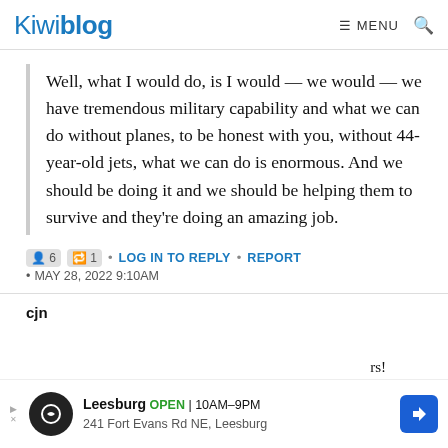Kiwiblog  ≡ MENU  🔍
Well, what I would do, is I would — we would — we have tremendous military capability and what we can do without planes, to be honest with you, without 44-year-old jets, what we can do is enormous. And we should be doing it and we should be helping them to survive and they're doing an amazing job.
6  1  •  LOG IN TO REPLY  •  REPORT
• MAY 28, 2022 9:10AM
cjn
rs!
[Figure (screenshot): Advertisement banner: Leesburg OPEN 10AM-9PM, 241 Fort Evans Rd NE, Leesburg, with circular logo and blue diamond arrow icon]